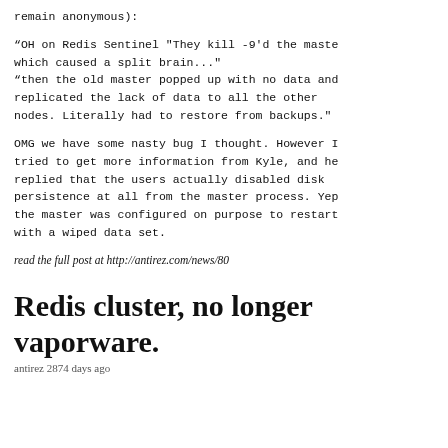remain anonymous):
“OH on Redis Sentinel "They kill -9'd the master, which caused a split brain..."
“then the old master popped up with no data and replicated the lack of data to all the other nodes. Literally had to restore from backups."
OMG we have some nasty bug I thought. However I tried to get more information from Kyle, and he replied that the users actually disabled disk persistence at all from the master process. Yep, the master was configured on purpose to restart with a wiped data set.
read the full post at http://antirez.com/news/80
Redis cluster, no longer vaporware.
antirez 2874 days ago